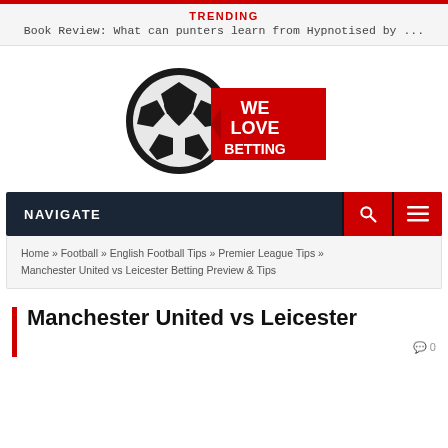TRENDING
Book Review: What can punters learn from Hypnotised by ...
[Figure (logo): We Love Betting logo — soccer ball with heart and red banner text reading WE LOVE BETTING]
NAVIGATE
Home » Football » English Football Tips » Premier League Tips » Manchester United vs Leicester Betting Preview & Tips
Manchester United vs Leicester